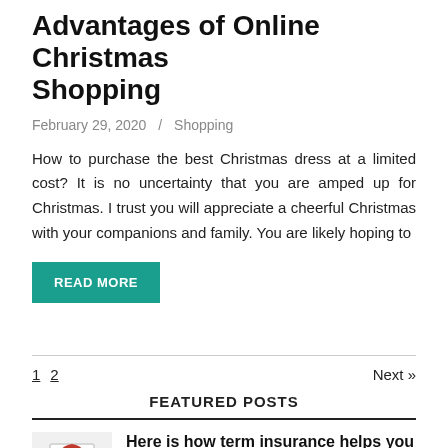Advantages of Online Christmas Shopping
February 29, 2020  /  Shopping
How to purchase the best Christmas dress at a limited cost? It is no uncertainty that you are amped up for Christmas. I trust you will appreciate a cheerful Christmas with your companions and family. You are likely hoping to
READ MORE
1  2   Next »
FEATURED POSTS
[Figure (photo): Hand holding a sign with a red umbrella over a family of stick figures]
Here is how term insurance helps you with liabilities
August 29, 2022